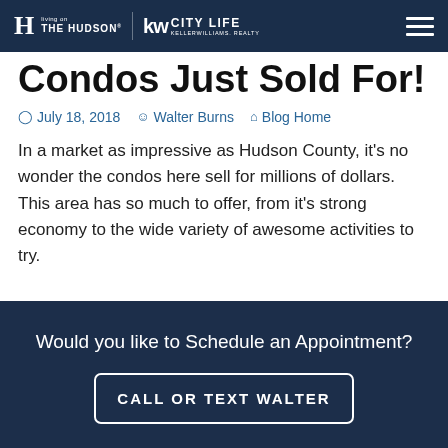Living on The Hudson | KW City Life Keller Williams Realty
Condos Just Sold For!
July 18, 2018   Walter Burns   Blog Home
In a market as impressive as Hudson County, it's no wonder the condos here sell for millions of dollars. This area has so much to offer, from it's strong economy to the wide variety of awesome activities to try.
Would you like to Schedule an Appointment?
CALL OR TEXT WALTER